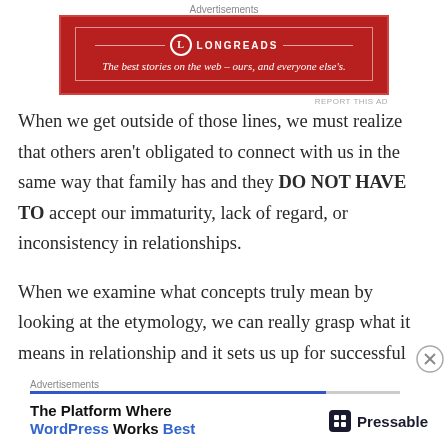[Figure (screenshot): Longreads advertisement banner — red background with white border, Longreads logo and tagline: 'The best stories on the web – ours, and everyone else's.']
When we get outside of those lines, we must realize that others aren't obligated to connect with us in the same way that family has and they DO NOT HAVE TO accept our immaturity, lack of regard, or inconsistency in relationships.
When we examine what concepts truly mean by looking at the etymology, we can really grasp what it means in relationship and it sets us up for successful long-term connections.
So now that we are somewhat attuned to what a healthy
[Figure (screenshot): Pressable advertisement banner — 'The Platform Where WordPress Works Best' with Pressable logo on right.]